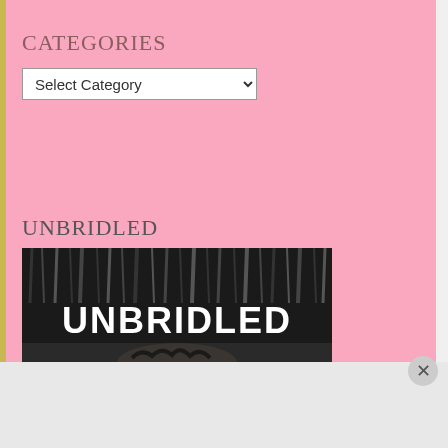CATEGORIES
Select Category
UNBRIDLED
[Figure (illustration): Book cover for UNBRIDLED: black and white image showing dark forest-like vertical streaks at top, large white stylized text reading UNBRIDLED in the middle, and a person's face with dark hair visible at the bottom.]
Advertisements
[Figure (screenshot): DuckDuckGo advertisement banner: orange section with text 'Search, browse, and email with more privacy. All in One Free App' and dark section with DuckDuckGo duck logo.]